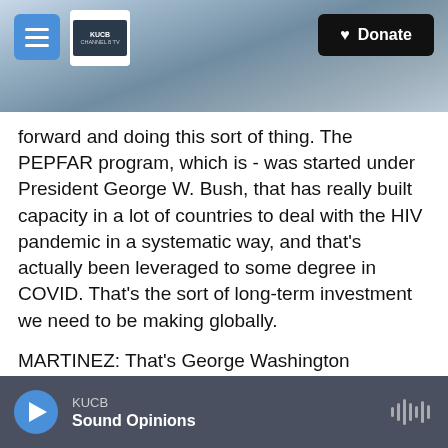[Figure (screenshot): Website header banner with mountain/snow landscape background, hamburger menu button (blue), KUCB Channel 8 TV logo box, and black Donate button with heart icon]
forward and doing this sort of thing. The PEPFAR program, which is - was started under President George W. Bush, that has really built capacity in a lot of countries to deal with the HIV pandemic in a systematic way, and that's actually been leveraged to some degree in COVID. That's the sort of long-term investment we need to be making globally.
MARTINEZ: That's George Washington University professor of health policy and management, Jeff Levi. Thank you very much.
LEVI: Thank you. Transcript provided by NPR,
KUCB — Sound Opinions